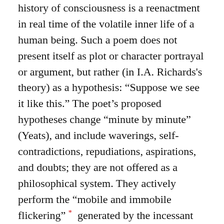history of consciousness is a reenactment in real time of the volatile inner life of a human being. Such a poem does not present itself as plot or character portrayal or argument, but rather (in I.A. Richards's theory) as a hypothesis: “Suppose we see it like this.” The poet’s proposed hypotheses change “minute by minute” (Yeats), and include waverings, self-contradictions, repudiations, aspirations, and doubts; they are not offered as a philosophical system. They actively perform the “mobile and immobile flickering” * generated by the incessant cooperation of the senses, the mind, and the heart. The history of consciousness must include those perplexingly simultaneous organic responses as episodes in thought no less significant than episodes of system-making or of scientific discovery.